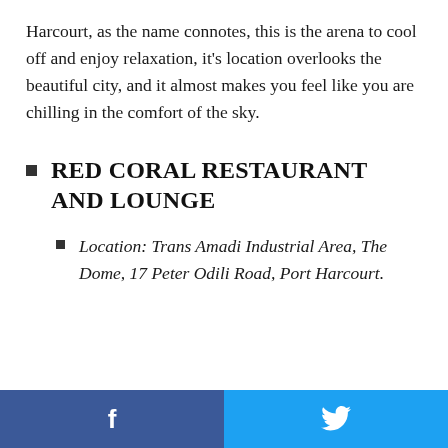Harcourt, as the name connotes, this is the arena to cool off and enjoy relaxation, it's location overlooks the beautiful city, and it almost makes you feel like you are chilling in the comfort of the sky.
RED CORAL RESTAURANT AND LOUNGE
Location: Trans Amadi Industrial Area, The Dome, 17 Peter Odili Road, Port Harcourt.
f  [twitter bird]